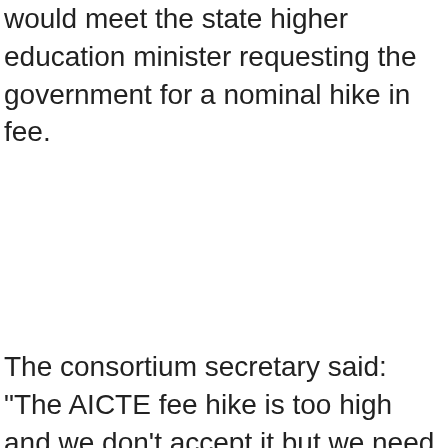AICTE fee hike as it was very high but added that they would meet the state higher education minister requesting the government for a nominal hike in fee.
The consortium secretary said: "The AICTE fee hike is too high and we don't accept it but we need a nominal hike for our survival. The representatives of the